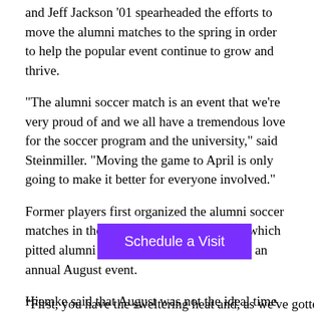and Jeff Jackson '01 spearheaded the efforts to move the alumni matches to the spring in order to help the popular event continue to grow and thrive.
“The alumni soccer match is an event that we’re very proud of and we all have a tremendous love for the soccer program and the university,” said Steinmiller. “Moving the game to April is only going to make it better for everyone involved.”
Former players first organized the alumni soccer matches in the early 2000s and the event, which pitted alumni vs. the current team, became an annual August event.
Hiemke said that August was not the ideal time of the year to hold the alumni matches and that moving it to April should help attendance.
“First, you have the sweltering heat and, as we’ve gotten